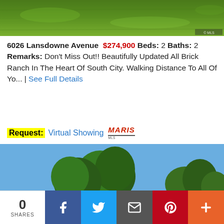[Figure (photo): Aerial/close view of green grass lawn]
6026 Lansdowne Avenue $274,900 Beds: 2 Baths: 2 Remarks: Don't Miss Out!! Beautifully Updated All Brick Ranch In The Heart Of South City. Walking Distance To All Of Yo... | See Full Details
Request: Virtual Showing MARIS MLS
[Figure (photo): Exterior photo of a ranch-style brick home with large trees in front yard, mailbox visible, sunny day]
0 SHARES